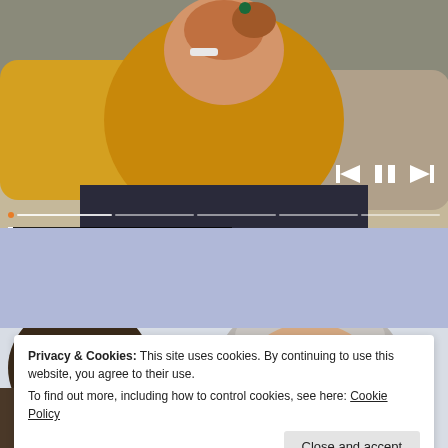[Figure (photo): Video player showing a person in a yellow sweater holding hands, with playback controls (skip-back, pause, skip-forward) and a progress bar overlay. Caption bar reads 'How Stress Affects Psoriasis'.]
How Stress Affects Psoriasis
[Figure (photo): Photo of an elderly woman with gray hair being spoken to by a younger person (doctor or caregiver), with a blurred background.]
Privacy & Cookies: This site uses cookies. By continuing to use this website, you agree to their use.
To find out more, including how to control cookies, see here: Cookie Policy
Close and accept